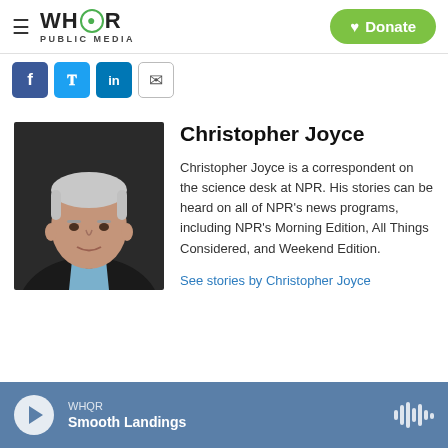WHQR PUBLIC MEDIA | Donate
[Figure (other): Social media share icons: Facebook, Twitter, LinkedIn, Email]
[Figure (photo): Headshot of Christopher Joyce, an older man with gray hair wearing a dark jacket and light blue shirt, photographed against a dark background]
Christopher Joyce
Christopher Joyce is a correspondent on the science desk at NPR. His stories can be heard on all of NPR's news programs, including NPR's Morning Edition, All Things Considered, and Weekend Edition.
See stories by Christopher Joyce
WHQR | Smooth Landings